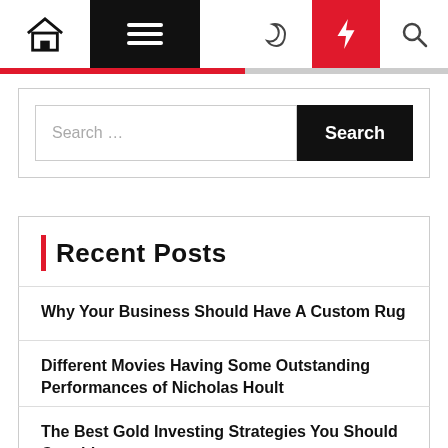Navigation bar with home, menu, dark mode, trending, and search icons
Search ...
Recent Posts
Why Your Business Should Have A Custom Rug
Different Movies Having Some Outstanding Performances of Nicholas Hoult
The Best Gold Investing Strategies You Should Consider
Suwitmuaythai of Muay Thai fitness business in